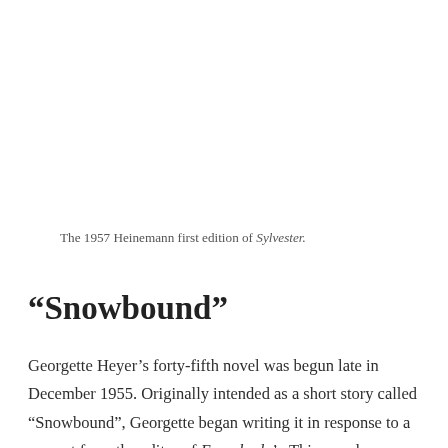The 1957 Heinemann first edition of Sylvester.
“Snowbound”
Georgette Heyer’s forty-fifth novel was begun late in December 1955. Originally intended as a short story called “Snowbound”, Georgette began writing it in response to a request from the editor of Everybody’s. This popular magazine was keen to emulate the success of Woman’s Journal which always sold out whenever